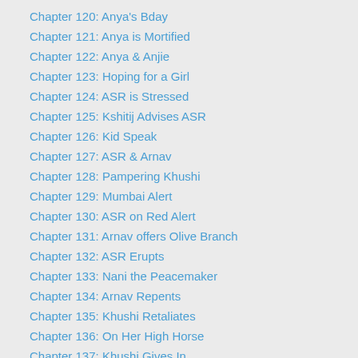Chapter 120: Anya's Bday
Chapter 121: Anya is Mortified
Chapter 122: Anya & Anjie
Chapter 123: Hoping for a Girl
Chapter 124: ASR is Stressed
Chapter 125: Kshitij Advises ASR
Chapter 126: Kid Speak
Chapter 127: ASR & Arnav
Chapter 128: Pampering Khushi
Chapter 129: Mumbai Alert
Chapter 130: ASR on Red Alert
Chapter 131: Arnav offers Olive Branch
Chapter 132: ASR Erupts
Chapter 133: Nani the Peacemaker
Chapter 134: Arnav Repents
Chapter 135: Khushi Retaliates
Chapter 136: On Her High Horse
Chapter 137: Khushi Gives In
Chapter 138: Sweet Revenge
Chapter 139: Making ASR Sing